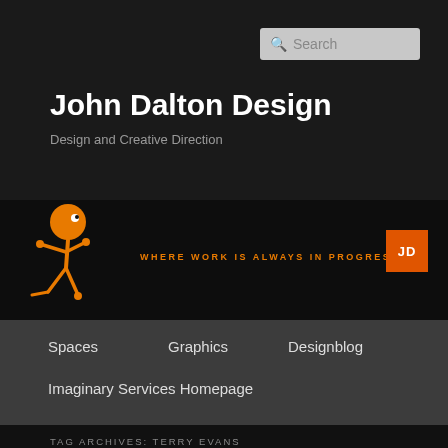Search
John Dalton Design
Design and Creative Direction
[Figure (illustration): Orange walking stick figure character on dark background with tagline WHERE WORK IS ALWAYS IN PROGRESS. and orange JD logo box]
Spaces  Graphics  Designblog
Spaces
Graphics
Designblog
Imaginary Services Homepage
TAG ARCHIVES: TERRY EVANS
Revealing Chicago: